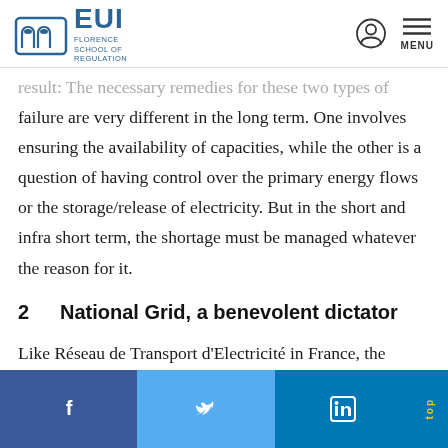EUI Florence School of Regulation
…result: The necessary remedies for these two types of failure are very different in the long term. One involves ensuring the availability of capacities, while the other is a question of having control over the primary energy flows or the storage/release of electricity. But in the short and infra short term, the shortage must be managed whatever the reason for it.
2  National Grid, a benevolent dictator
Like Réseau de Transport d'Electricité in France, the British transmission network manager National Grid (NG) is also in charge of managing the power grid. In other
Facebook | Twitter | LinkedIn | top